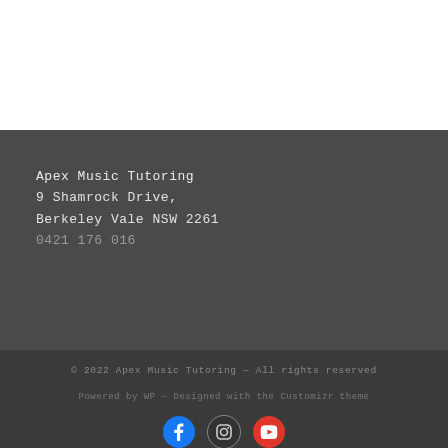Apex Music Tutoring
9 Shamrock Drive,
Berkeley Vale NSW 2261
0421 176 016
© 2022 Apex Music Tutoring — All rights reserved
Powered by WP — Designed with the Customizr theme